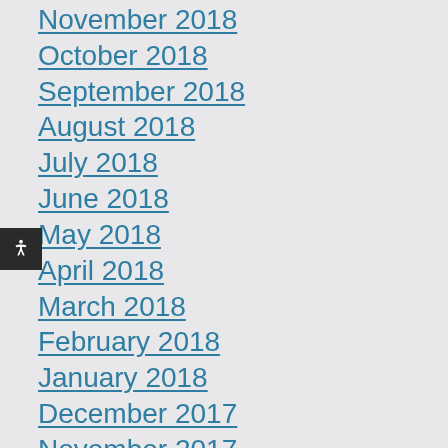November 2018
October 2018
September 2018
August 2018
July 2018
June 2018
May 2018
April 2018
March 2018
February 2018
January 2018
December 2017
November 2017
October 2017
September 2017